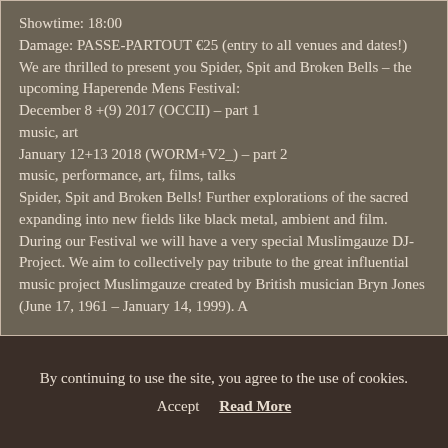Showtime: 18:00
Damage: PASSE-PARTOUT €25 (entry to all venues and dates!)
We are thrilled to present you Spider, Spit and Broken Bells – the upcoming Haperende Mens Festival:
December 8 +(9) 2017 (OCCII) – part 1
music, art
January 12+13 2018 (WORM+V2_) – part 2
music, performance, art, films, talks
Spider, Spit and Broken Bells! Further explorations of the sacred expanding into new fields like black metal, ambient and film.
During our Festival we will have a very special Muslimgauze DJ-Project. We aim to collectively pay tribute to the great influential music project Muslimgauze created by British musician Bryn Jones (June 17, 1961 – January 14, 1999). A
By continuing to use the site, you agree to the use of cookies.
Accept   Read More